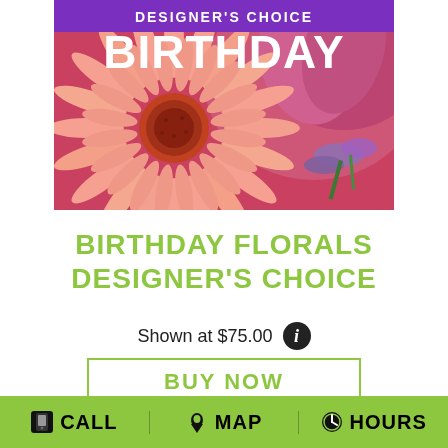[Figure (photo): Close-up photo of birthday florals: a large salmon/coral gerbera daisy in the foreground, pink tulip and purple flowers in the background, with a purple banner at top reading DESIGNER'S CHOICE and white bold text BIRTHDAY overlaid on the image.]
BIRTHDAY FLORALS DESIGNER'S CHOICE
Shown at $75.00
BUY NOW
CALL  MAP  HOURS